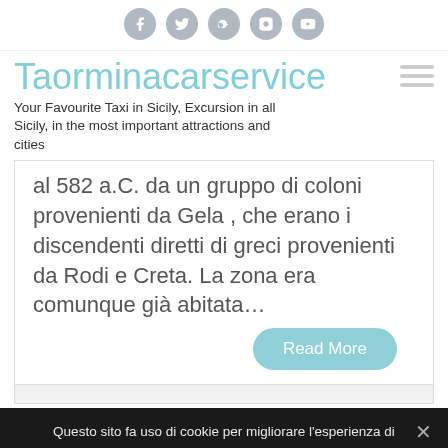[Figure (other): Row of 5 social media icons (Facebook, Twitter, Google+, Instagram, YouTube) as gray circular buttons]
Taorminacarservice
Your Favourite Taxi in Sicily, Excursion in all Sicily, in the most important attractions and cities
al 582 a.C. da un gruppo di coloni provenienti da Gela , che erano i discendenti diretti di greci provenienti da Rodi e Creta. La zona era comunque già abitata…
[Figure (other): Read More button — rounded pill button with light teal/blue background]
Questo sito fa uso di cookie per migliorare l'esperienza di navigazione degli utenti e per raccogliere informazioni sull'utilizzo del sito stesso. Può conoscere i dettagli consultando la nostra pagina privacy policy. Proseguendo nella navigazione si accetta l'uso dei cookie; in caso contrario è possibile abbandonare il sito.
Ok   Privacy policy